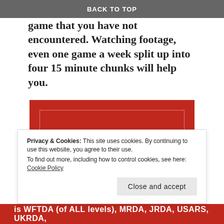BACK TO TOP
think critically about a game that you have not encountered. Watching footage, even one game a week split up into four 15 minute chunks will help you.
[Figure (other): Longreads advertisement banner: red background with white circle logo containing letter L, LONGREADS branding, tagline 'The best stories on the web – ours, and everyone else's.' and a 'Start reading' button on black background.]
Privacy & Cookies: This site uses cookies. By continuing to use this website, you agree to their use.
To find out more, including how to control cookies, see here: Cookie Policy
Close and accept
is WFTDA (of ALL levels), MRDA, JRDA, USARS, UKRDA,